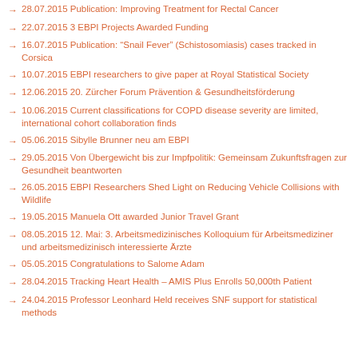28.07.2015 Publication: Improving Treatment for Rectal Cancer
22.07.2015 3 EBPI Projects Awarded Funding
16.07.2015 Publication: “Snail Fever” (Schistosomiasis) cases tracked in Corsica
10.07.2015 EBPI researchers to give paper at Royal Statistical Society
12.06.2015 20. Zürcher Forum Prävention & Gesundheitsförderung
10.06.2015 Current classifications for COPD disease severity are limited, international cohort collaboration finds
05.06.2015 Sibylle Brunner neu am EBPI
29.05.2015 Von Übergewicht bis zur Impfpolitik: Gemeinsam Zukunftsfragen zur Gesundheit beantworten
26.05.2015 EBPI Researchers Shed Light on Reducing Vehicle Collisions with Wildlife
19.05.2015 Manuela Ott awarded Junior Travel Grant
08.05.2015 12. Mai: 3. Arbeitsmedizinisches Kolloquium für Arbeitsmediziner und arbeitsmedizinisch interessierte Ärzte
05.05.2015 Congratulations to Salome Adam
28.04.2015 Tracking Heart Health – AMIS Plus Enrolls 50,000th Patient
24.04.2015 Professor Leonhard Held receives SNF support for statistical methods